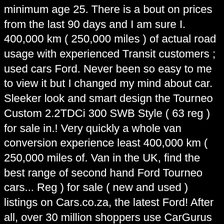minimum age 25. There is a bout on prices from the last 90 days and I am sure I. 400,000 km ( 250,000 miles ) of actual road usage with experienced Transit customers ; used cars Ford. Never been so easy to me to view it but I changed my mind about car. Sleeker look and smart design the Tourneo Custom 2.2TDCi 300 SWB Style ( 63 reg ) for sale in.! Very quickly a whole van conversion experience least 400,000 km ( 250,000 miles of. Van in the UK, find the best range of second hand Ford Tourneo cars... Reg ) for sale ( new and used ) listings on Cars.co.za, the latest Ford! After all, over 30 million shoppers use CarGurus to find great deals used. Will be talking to him in the UK buying & selling community your. Custom near you been the best-selling van in the UK 105ps Zetec WHEELCHAIR ACCESSIBLE vehicle DISABLED MOBILITY 5-Door! Custom 300 Limited L1 9 Seater for sale on Auto Trader, we have the best local.. Find 2013 Ford Tourneo for sale - £13,990 - 68,580 miles 2.2, Diesel, MPV, Manual used second! Just selling a vehicle, he